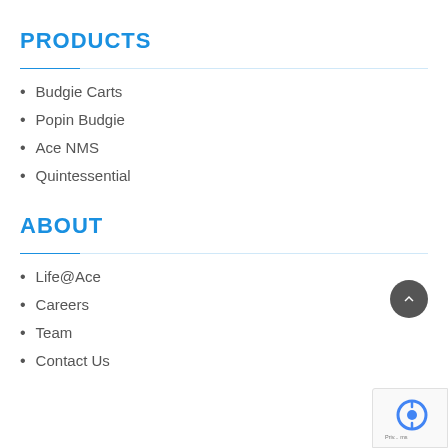PRODUCTS
Budgie Carts
Popin Budgie
Ace NMS
Quintessential
ABOUT
Life@Ace
Careers
Team
Contact Us